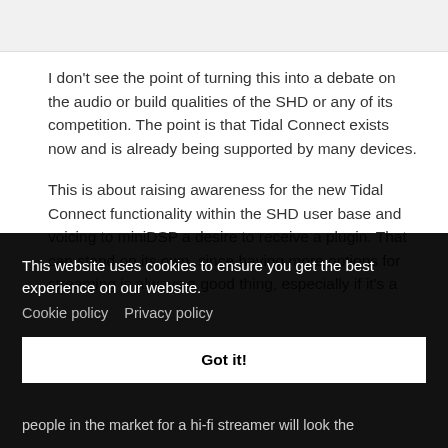I don't see the point of turning this into a debate on the audio or build qualities of the SHD or any of its competition. The point is that Tidal Connect exists now and is already being supported by many devices.
This is about raising awareness for the new Tidal Connect functionality within the SHD user base and voicing to miniDSP a desire to receive a plugin. That can stand on its own, since having more options for streaming is always a good thing, especially if it's a
This website uses cookies to ensure you get the best experience on our website. Cookie policy   Privacy policy
Got it!
people in the market for a hi-fi streamer will look the